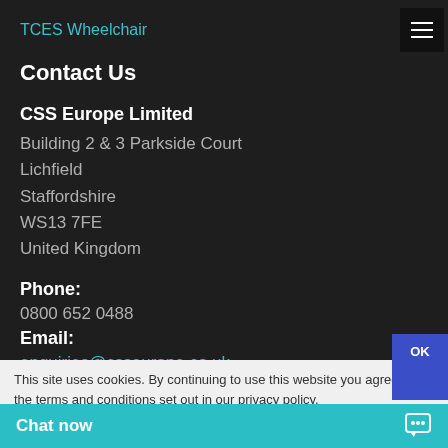TCES Wheelchair
Contact Us
CSS Europe Limited
Building 2 & 3 Parkside Court
Lichfield
Staffordshire
WS13 7FE
United Kingdom
Phone:
0800 652 0488
Email:
enquiries@csseurope.co.uk
This site uses cookies. By continuing to use this website you agree to the terms and conditions set out in our privacy policy. You can view our current policy
Chat now